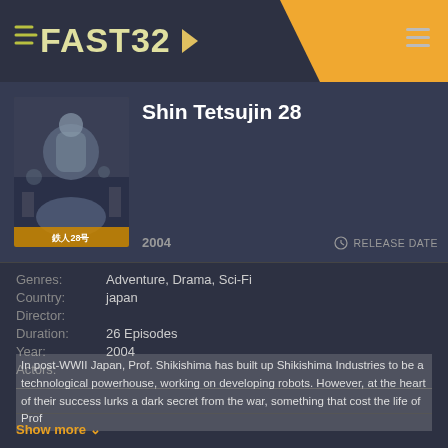FAST32
Shin Tetsujin 28
2004   RELEASE DATE
Genres: Adventure, Drama, Sci-Fi
Country: japan
Director:
Duration: 26 Episodes
Year: 2004
Actors:
In post-WWII Japan, Prof. Shikishima has built up Shikishima Industries to be a technological powerhouse, working on developing robots. However, at the heart of their success lurks a dark secret from the war, something that cost the life of Prof
Show more ∨